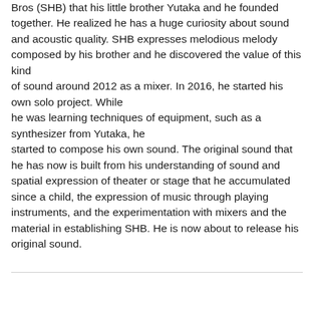Bros (SHB) that his little brother Yutaka and he founded together. He realized he has a huge curiosity about sound and acoustic quality. SHB expresses melodious melody composed by his brother and he discovered the value of this kind of sound around 2012 as a mixer. In 2016, he started his own solo project. While he was learning techniques of equipment, such as a synthesizer from Yutaka, he started to compose his own sound. The original sound that he has now is built from his understanding of sound and spatial expression of theater or stage that he accumulated since a child, the expression of music through playing instruments, and the experimentation with mixers and the material in establishing SHB. He is now about to release his original sound.